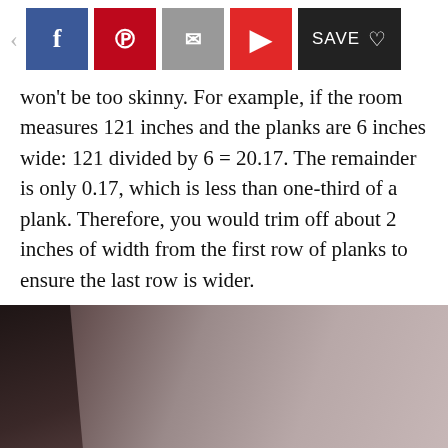Social sharing toolbar with Facebook, Pinterest, Email, Flipboard, and Save buttons
won't be too skinny. For example, if the room measures 121 inches and the planks are 6 inches wide: 121 divided by 6 = 20.17. The remainder is only 0.17, which is less than one-third of a plank. Therefore, you would trim off about 2 inches of width from the first row of planks to ensure the last row is wider.
[Figure (photo): Photo of a room interior showing flooring installation, with a dark panel on the left side and muted gray-brown tones]